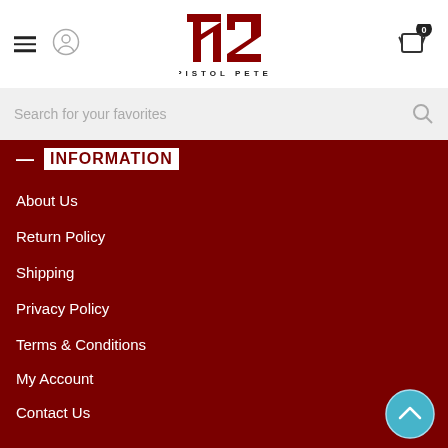[Figure (logo): 72 Pistol Pete logo in dark red with hamburger menu and account icon on left, cart icon on right]
Search for your favorites
INFORMATION
About Us
Return Policy
Shipping
Privacy Policy
Terms & Conditions
My Account
Contact Us